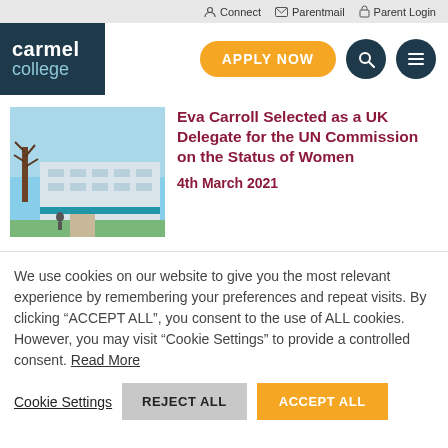Connect  Parentmail  Parent Login
[Figure (logo): Carmel College logo - white text on dark teal background]
APPLY NOW
[Figure (photo): Photo of Carmel College building exterior with blue sky and trees]
Eva Carroll Selected as a UK Delegate for the UN Commission on the Status of Women
4th March 2021
We use cookies on our website to give you the most relevant experience by remembering your preferences and repeat visits. By clicking “ACCEPT ALL”, you consent to the use of ALL cookies. However, you may visit "Cookie Settings" to provide a controlled consent. Read More
Cookie Settings  REJECT ALL  ACCEPT ALL